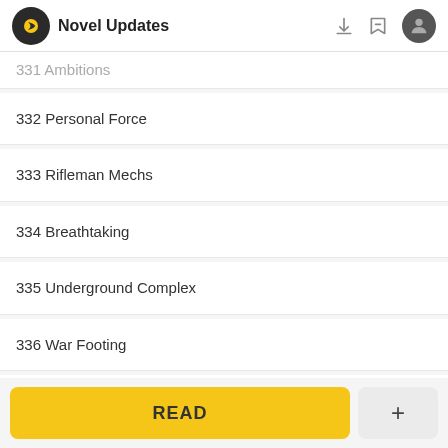Novel Updates
331 Ambitions
332 Personal Force
333 Rifleman Mechs
334 Breathtaking
335 Underground Complex
336 War Footing
337 Intensive Competition
338 Exceptional
READ
+